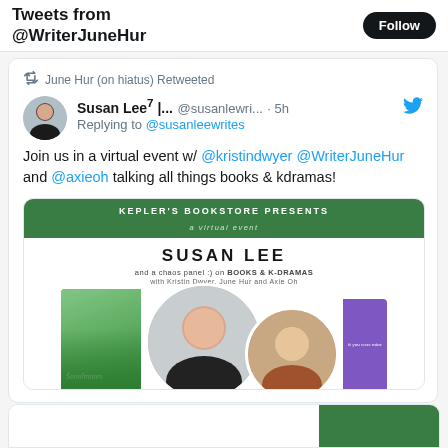Tweets from @WriterJuneHur
June Hur (on hiatus) Retweeted
Susan Lee⁷ |... @susanlewri... · 5h
Replying to @susanleewrites
Join us in a virtual event w/ @kristindwyer @WriterJuneHur and @axieoh talking all things books & kdramas!
[Figure (infographic): Kepler's Bookstore Presents a virtual event - Susan Lee and a chaos panel on Books & K-Dramas with Kristin Dwyer, June Hur and Axie Oh. Shows book cover of Seoulmates and photos of three women.]